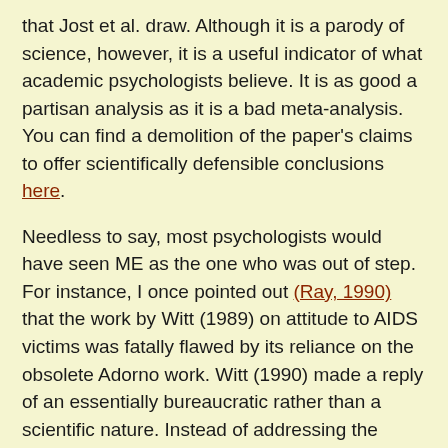that Jost et al. draw. Although it is a parody of science, however, it is a useful indicator of what academic psychologists believe. It is as good a partisan analysis as it is a bad meta-analysis. You can find a demolition of the paper's claims to offer scientifically defensible conclusions here.
Needless to say, most psychologists would have seen ME as the one who was out of step. For instance, I once pointed out (Ray, 1990) that the work by Witt (1989) on attitude to AIDS victims was fatally flawed by its reliance on the obsolete Adorno work. Witt (1990) made a reply of an essentially bureaucratic rather than a scientific nature. Instead of addressing the scientific issues involved directly, Witt concentrated on showing that other people also continue to do as he does -- i.e. they take the Adorno "et al. (1950) work seriously. "If I am wrong,